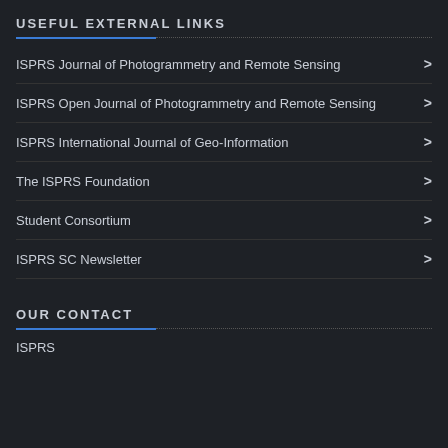USEFUL EXTERNAL LINKS
ISPRS Journal of Photogrammetry and Remote Sensing
ISPRS Open Journal of Photogrammetry and Remote Sensing
ISPRS International Journal of Geo-Information
The ISPRS Foundation
Student Consortium
ISPRS SC Newsletter
OUR CONTACT
ISPRS